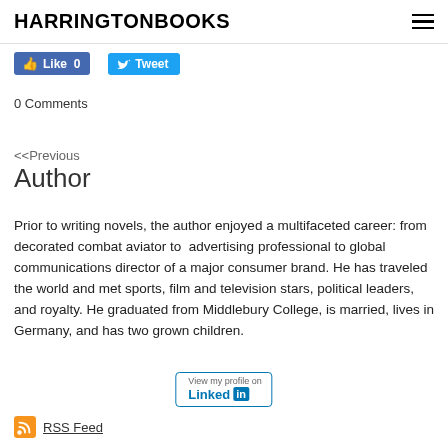HARRINGTONBOOKS
[Figure (screenshot): Facebook Like button showing count 0 and Twitter Tweet button]
0 Comments
<<Previous
Author
Prior to writing novels, the author enjoyed a multifaceted career: from decorated combat aviator to advertising professional to global communications director of a major consumer brand. He has traveled the world and met sports, film and television stars, political leaders, and royalty. He graduated from Middlebury College, is married, lives in Germany, and has two grown children.
[Figure (logo): View my profile on LinkedIn button]
RSS Feed